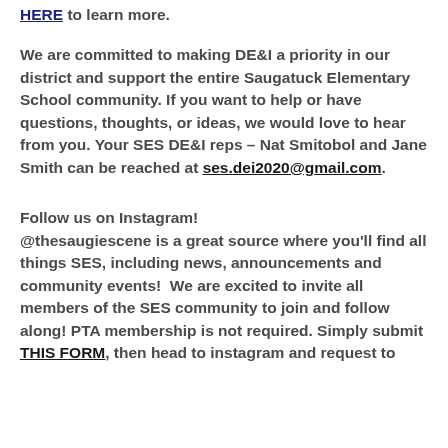HERE to learn more.
We are committed to making DE&I a priority in our district and support the entire Saugatuck Elementary School community. If you want to help or have questions, thoughts, or ideas, we would love to hear from you. Your SES DE&I reps – Nat Smitobol and Jane Smith can be reached at ses.dei2020@gmail.com.
Follow us on Instagram! @thesaugiescene is a great source where you'll find all things SES, including news, announcements and community events!  We are excited to invite all members of the SES community to join and follow along! PTA membership is not required. Simply submit THIS FORM, then head to instagram and request to